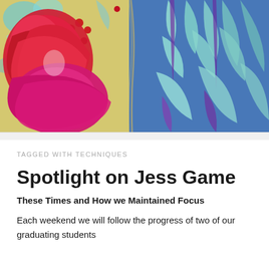[Figure (photo): Close-up photograph of colorful patterned fabrics with floral designs — vivid red, pink, magenta flowers on a cream/yellow background on the left, and light teal/mint floral patterns on a blue background on the right, with purple accents.]
TAGGED WITH TECHNIQUES
Spotlight on Jess Game
These Times and How we Maintained Focus
Each weekend we will follow the progress of two of our graduating students